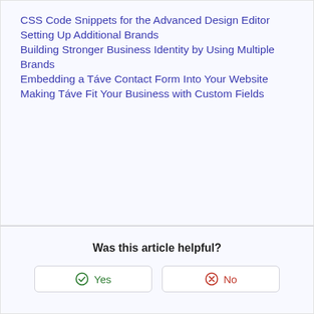CSS Code Snippets for the Advanced Design Editor
Setting Up Additional Brands
Building Stronger Business Identity by Using Multiple Brands
Embedding a Táve Contact Form Into Your Website
Making Táve Fit Your Business with Custom Fields
Was this article helpful?
Yes
No